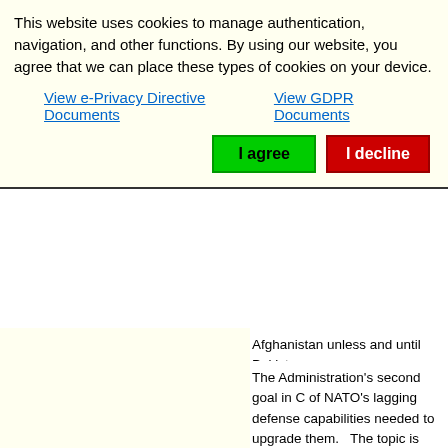This website uses cookies to manage authentication, navigation, and other functions. By using our website, you agree that we can place these types of cookies on your device.
View e-Privacy Directive Documents
View GDPR Documents
I agree
I decline
Afghanistan unless and until Pakistan
The Administration’s second goal in C of NATO’s lagging defense capabilities needed to upgrade them. The topic is more; the Europeans promise to do be the plan to bolster Europe’s defense p cooperation.
None of Europe’s identified deficiencie reveal their extent. Some shortcomin supporting capabilities like aerial refu not an expeditionary alliance sending Secretary Robert Gates said last June budgets…have been chronically starv themselves each year". The U.S. dev themselves each year".